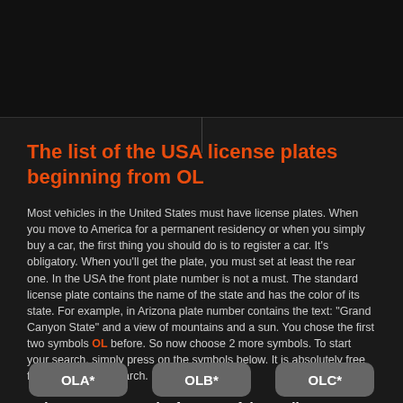The list of the USA license plates beginning from OL
Most vehicles in the United States must have license plates. When you move to America for a permanent residency or when you simply buy a car, the first thing you should do is to register a car. It's obligatory. When you'll get the plate, you must set at least the rear one. In the USA the front plate number is not a must. The standard license plate contains the name of the state and has the color of its state. For example, in Arizona plate number contains the text: "Grand Canyon State" and a view of mountains and a sun. You chose the first two symbols OL before. So now choose 2 more symbols. To start your search, simply press on the symbols below. It is absolutely free for you to do the search.
Below you can see the formats of the US license plates
Please choose the first three symbols of your license plate
OLA*
OLB*
OLC*